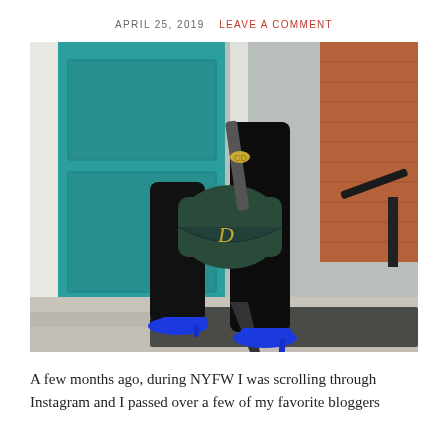APRIL 25, 2019   LEAVE A COMMENT
[Figure (photo): Fashion photo showing lower body of a person wearing black flared/wide-leg pants and royal blue pointed-toe stiletto heels, holding a dark green Dior saddle bag, standing on stone steps in front of a teal/turquoise door with a brick building and white trim visible in the background, and a dark doormat underfoot.]
A few months ago, during NYFW I was scrolling through Instagram and I passed over a few of my favorite bloggers